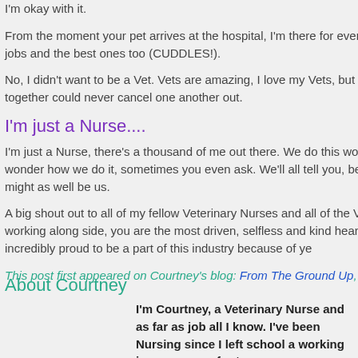I'm okay with it.
From the moment your pet arrives at the hospital, I'm there for every step of their tr jobs, the dirty jobs and the best ones too (CUDDLES!).
No, I didn't want to be a Vet. Vets are amazing, I love my Vets, but I also love bein job we do together could never cancel one another out.
I'm just a Nurse....
I'm just a Nurse, there's a thousand of me out there. We do this work for love. We caring. You may wonder how we do it, sometimes you even ask. We'll all tell you, because someone has to and it might as well be us.
A big shout out to all of my fellow Veterinary Nurses and all of the Veterinarians wh the privilege of working along side, you are the most driven, selfless and kind heart world has to offer and I am incredibly proud to be a part of this industry because of ye
This post first appeared on Courtney's blog: From The Ground Up, and has been rep permission
About Courtney
I'm Courtney, a Veterinary Nurse and as far as job all I know. I've been Nursing since I left school a working in emergency for two years.
I'm a single Mum and to be completely honest t